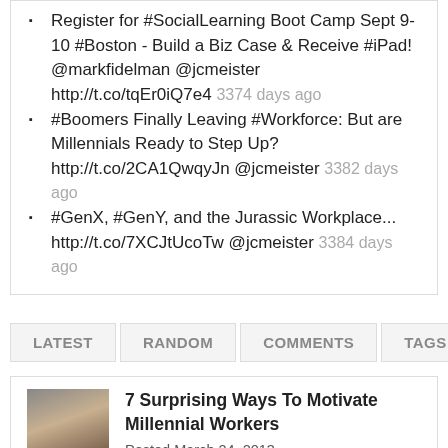Register for #SocialLearning Boot Camp Sept 9-10 #Boston - Build a Biz Case & Receive #iPad! @markfidelman @jcmeister http://t.co/tqEr0iQ7e4 3374 days ago
#Boomers Finally Leaving #Workforce: But are Millennials Ready to Step Up? http://t.co/2CA1QwqyJn @jcmeister 3382 days ago
#GenX, #GenY, and the Jurassic Workplace... http://t.co/7XCJtUcoTw @jcmeister 3384 days ago
LATEST   RANDOM   COMMENTS   TAGS
7 Surprising Ways To Motivate Millennial Workers
Posted March 24, 2013
Why Flexible Workplaces Are Good for